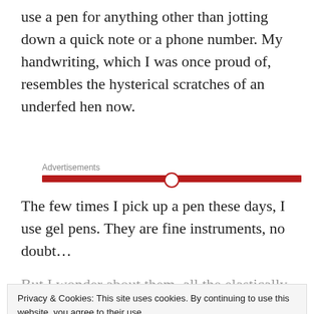use a pen for anything other than jotting down a quick note or a phone number. My handwriting, which I was once proud of, resembles the hysterical scratches of an underfed hen now.
Advertisements
The few times I pick up a pen these days, I use gel pens. They are fine instruments, no doubt…
But I wonder about them, all the elastically rubber…
Privacy & Cookies: This site uses cookies. By continuing to use this website, you agree to their use.
To find out more, including how to control cookies, see here: Cookie Policy
Close and accept